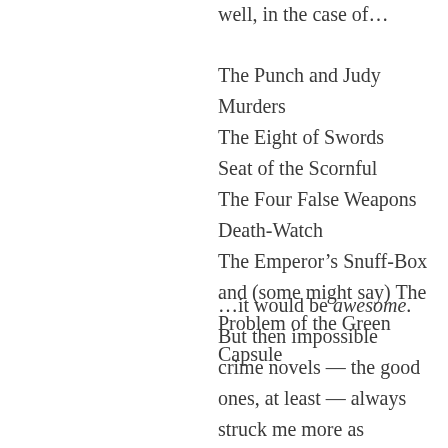well, in the case of…
The Punch and Judy Murders
The Eight of Swords
Seat of the Scornful
The Four False Weapons
Death-Watch
The Emperor’s Snuff-Box and (some might say) The Problem of the Green Capsule
…it would be awesome. But then impossible crime novels — the good ones, at least — always struck me more as someone having come up with a great idea, rather than